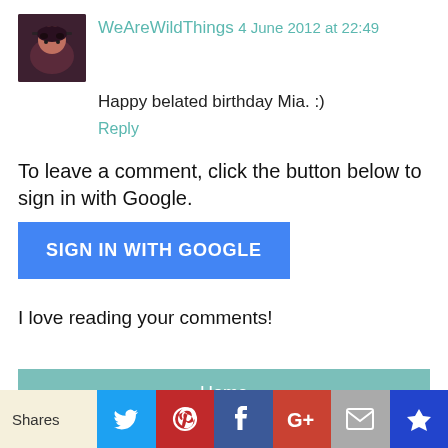WeAreWildThings  4 June 2012 at 22:49
Happy belated birthday Mia. :)
Reply
To leave a comment, click the button below to sign in with Google.
SIGN IN WITH GOOGLE
I love reading your comments!
Home
View web version
Powered by Blogger.
Shares